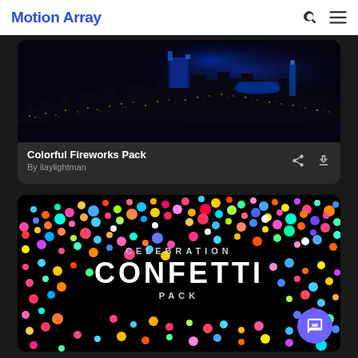Motion Array
[Figure (photo): Aerial night cityscape showing city lights with blue-lit buildings and stadium, dark sky]
Colorful Fireworks Pack
By ilaylightman
[Figure (photo): Celebration Confetti Pack promotional image with colorful confetti dots on black background and text CELEBRATION CONFETTI PACK in center]